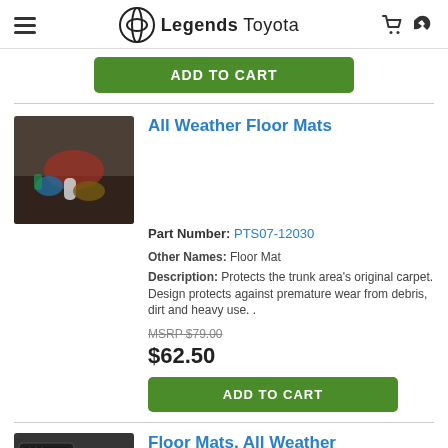Legends Toyota
ADD TO CART (button)
All Weather Floor Mats
Part Number: PTS07-12030
Other Names: Floor Mat
Description: Protects the trunk area's original carpet. Design protects against premature wear from debris, dirt and heavy use. .
MSRP $79.00
$62.50
ADD TO CART (button)
Floor Mats, All Weather
Part Number: PT206-60036-03
Other Names: Floor Mat
Replaces: PT206-6001F-03, PT206-60026-03